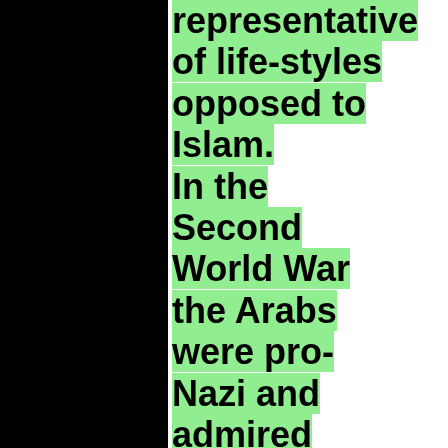representative of life-styles opposed to Islam. In the Second World War the Arabs were pro-Nazi and admired Hitler and still do. I am not acting as a psychologist of these people but they hate